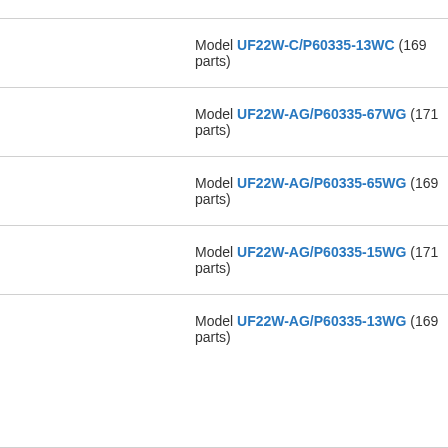Model UF22W-C/P60335-13WC (169 parts)
Model UF22W-AG/P60335-67WG (171 parts)
Model UF22W-AG/P60335-65WG (169 parts)
Model UF22W-AG/P60335-15WG (171 parts)
Model UF22W-AG/P60335-13WG (169 parts)